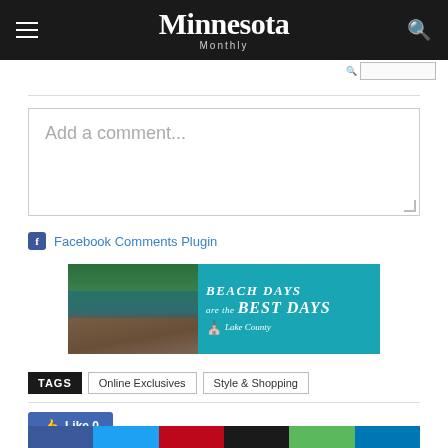Minnesota Monthly
Add a comment...
Facebook Comments Plugin
[Figure (photo): Lake County advertisement banner: 'Beach Days are the Best Days' with lake/beach/rocks photo on left and teal background with white text on right, Lake County logo]
TAGS  Online Exclusives  Style & Shopping
Like 0
Social share buttons row: Facebook, Twitter, Pinterest, Black, Green, Blue